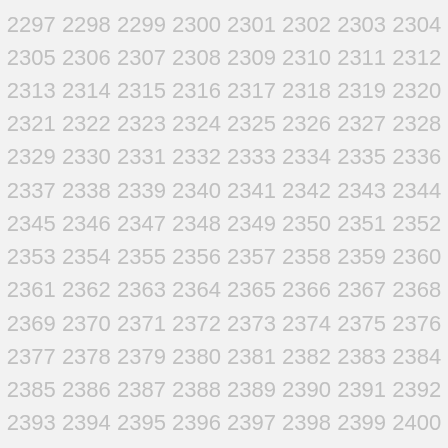2297 2298 2299 2300 2301 2302 2303 2304
2305 2306 2307 2308 2309 2310 2311 2312
2313 2314 2315 2316 2317 2318 2319 2320
2321 2322 2323 2324 2325 2326 2327 2328
2329 2330 2331 2332 2333 2334 2335 2336
2337 2338 2339 2340 2341 2342 2343 2344
2345 2346 2347 2348 2349 2350 2351 2352
2353 2354 2355 2356 2357 2358 2359 2360
2361 2362 2363 2364 2365 2366 2367 2368
2369 2370 2371 2372 2373 2374 2375 2376
2377 2378 2379 2380 2381 2382 2383 2384
2385 2386 2387 2388 2389 2390 2391 2392
2393 2394 2395 2396 2397 2398 2399 2400